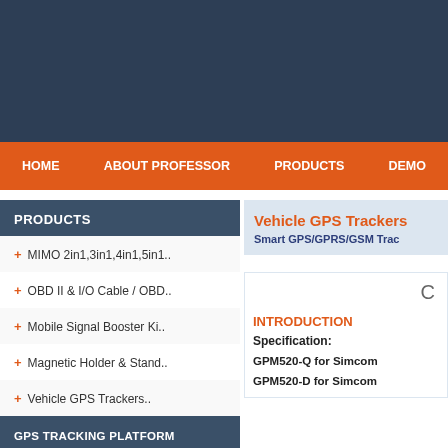[Figure (screenshot): Dark blue header background with website banner]
HOME   ABOUT PROFESSOR   PRODUCTS   DEMO
PRODUCTS
+ MIMO 2in1,3in1,4in1,5in1..
+ OBD II & I/O Cable / OBD..
+ Mobile Signal Booster Ki..
+ Magnetic Holder & Stand..
+ Vehicle GPS Trackers..
GPS TRACKING PLATFORM
Vehicle GPS Trackers
Smart GPS/GPRS/GSM Trac
INTRODUCTION
Specification:
GPM520-Q for Simcom
GPM520-D for Simcom